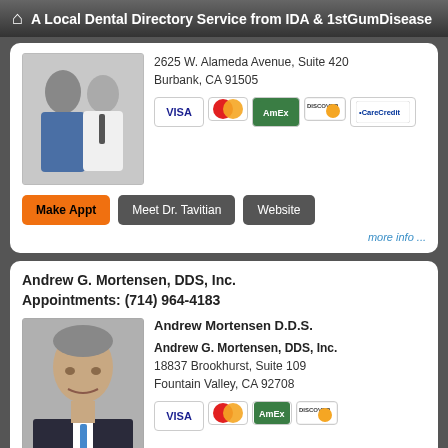A Local Dental Directory Service from IDA & 1stGumDisease
2625 W. Alameda Avenue, Suite 420
Burbank, CA 91505
Make Appt   Meet Dr. Tavitian   Website
more info ...
Andrew G. Mortensen, DDS, Inc.
Appointments: (714) 964-4183
Andrew Mortensen D.D.S.
Andrew G. Mortensen, DDS, Inc.
18837 Brookhurst, Suite 109
Fountain Valley, CA 92708